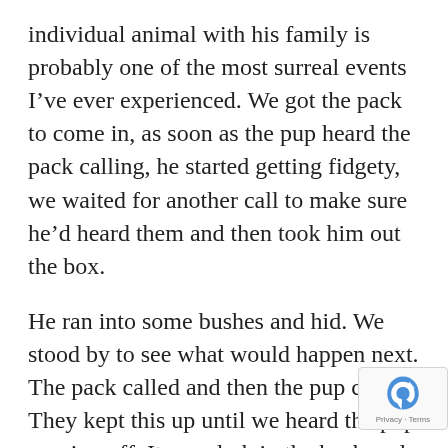individual animal with his family is probably one of the most surreal events I've ever experienced. We got the pack to come in, as soon as the pup heard the pack calling, he started getting fidgety, we waited for another call to make sure he'd heard them and then took him out the box.
He ran into some bushes and hid. We stood by to see what would happen next. The pack called and then the pup called. They kept this up until we heard the pup moving off. It was dark in the bush and Petoorua and I just sat holding our breaths until shortly we heard the dogs “twitter calling” in excitement. As more and more adults arrived, could hear them all greeting the pup.